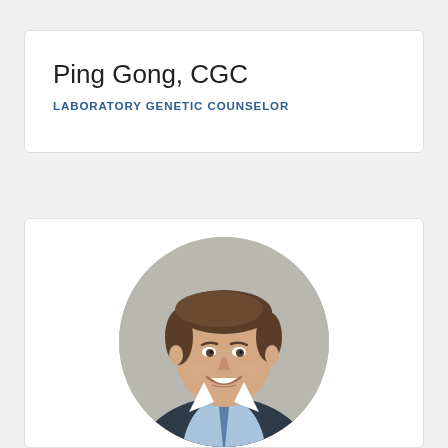Ping Gong, CGC
LABORATORY GENETIC COUNSELOR
[Figure (photo): Circular professional headshot of a young man with brown hair, smiling, wearing a dark suit and light blue shirt with a blue tie, against a grey background.]